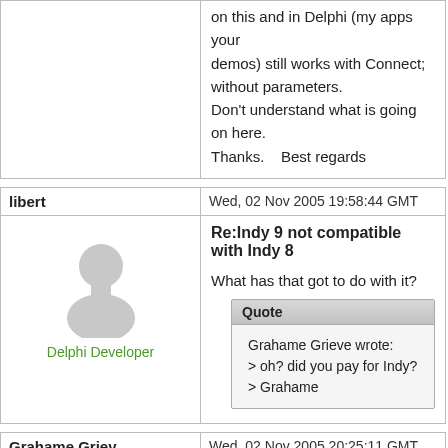on this and in Delphi (my apps your
demos) still works with Connect; without parameters.
Don't understand what is going on here.
Thanks.   Best regards
libert
Wed, 02 Nov 2005 19:58:44 GMT
[Figure (illustration): Generic user avatar (silhouette of a person)]
Delphi Developer
Re:Indy 9 not compatible with Indy 8
What has that got to do with it?
Quote
Grahame Grieve wrote:
> oh? did you pay for Indy?
> Grahame
Grahame Griev
Wed, 02 Nov 2005 20:25:11 GMT